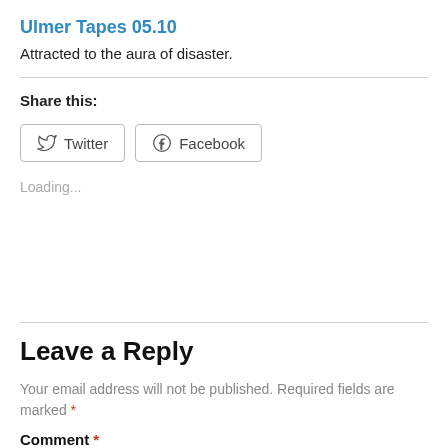Ulmer Tapes 05.10
Attracted to the aura of disaster.
Share this:
[Figure (other): Twitter and Facebook share buttons]
Loading...
Leave a Reply
Your email address will not be published. Required fields are marked *
Comment *